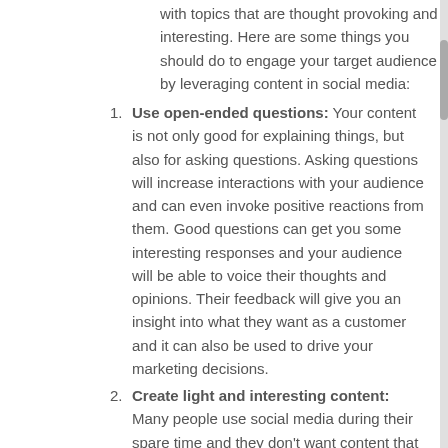with topics that are thought provoking and interesting. Here are some things you should do to engage your target audience by leveraging content in social media:
Use open-ended questions: Your content is not only good for explaining things, but also for asking questions. Asking questions will increase interactions with your audience and can even invoke positive reactions from them. Good questions can get you some interesting responses and your audience will be able to voice their thoughts and opinions. Their feedback will give you an insight into what they want as a customer and it can also be used to drive your marketing decisions.
Create light and interesting content: Many people use social media during their spare time and they don't want content that is too serious. Share a sense of humour in your content as this will make it stand out and your audience will pay closer attention. If your content is exciting and easy to